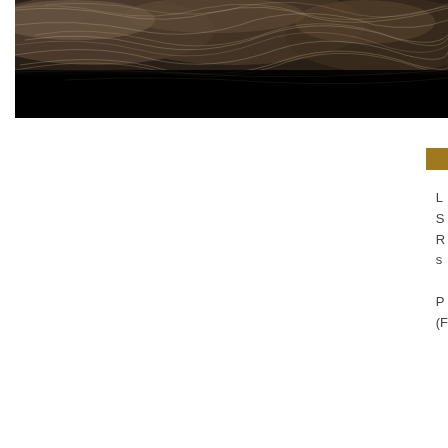[Figure (photo): Close-up photograph of animal fur or hair fibers against a dark/black background. The fur appears in shades of brown and grey with fine individual hair strands visible.]
[Figure (other): A small golden/amber colored square or rectangle decorative element.]
L
S
R
s

P
(F